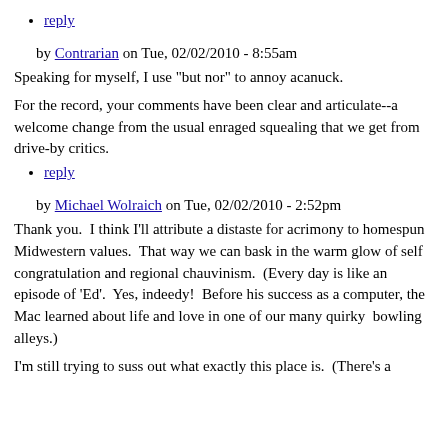reply
by Contrarian on Tue, 02/02/2010 - 8:55am
Speaking for myself, I use "but nor" to annoy acanuck.
For the record, your comments have been clear and articulate--a welcome change from the usual enraged squealing that we get from drive-by critics.
reply
by Michael Wolraich on Tue, 02/02/2010 - 2:52pm
Thank you.  I think I'll attribute a distaste for acrimony to homespun Midwestern values.  That way we can bask in the warm glow of self congratulation and regional chauvinism.  (Every day is like an episode of 'Ed'.  Yes, indeedy!  Before his success as a computer, the Mac learned about life and love in one of our many quirky  bowling alleys.)
I'm still trying to suss out what exactly this place is.  (There's a